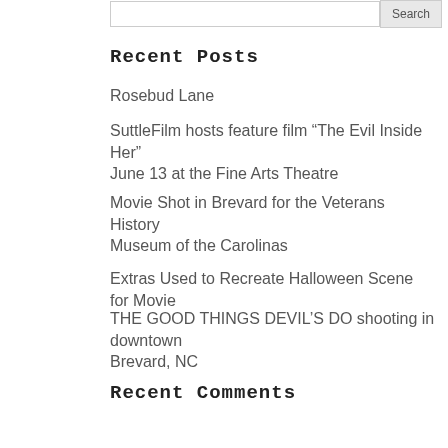Recent Posts
Rosebud Lane
SuttleFilm hosts feature film “The Evil Inside Her” June 13 at the Fine Arts Theatre
Movie Shot in Brevard for the Veterans History Museum of the Carolinas
Extras Used to Recreate Halloween Scene for Movie
THE GOOD THINGS DEVIL’S DO shooting in downtown Brevard, NC
Recent Comments
Archives
September 2020